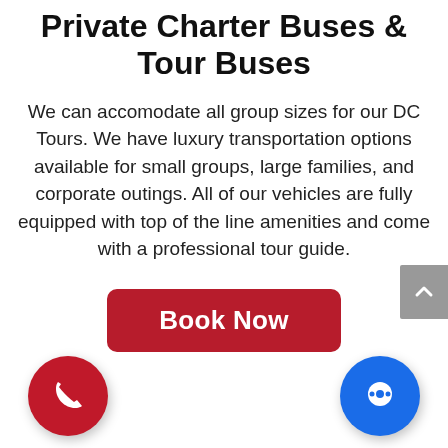Private Charter Buses & Tour Buses
We can accomodate all group sizes for our DC Tours. We have luxury transportation options available for small groups, large families, and corporate outings. All of our vehicles are fully equipped with top of the line amenities and come with a professional tour guide.
[Figure (other): Red 'Book Now' call-to-action button]
[Figure (other): Red circular phone icon (bottom left) and blue circular chat icon (bottom right)]